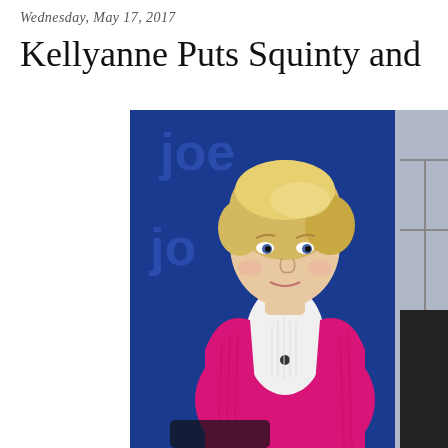Wednesday, May 17, 2017
Kellyanne Puts Squinty and M
[Figure (photo): A woman with short blonde hair wearing a pink cardigan over a white turtleneck, sitting in front of a blue background with 'joe' text visible. Part of another person is visible on the right edge. This appears to be a television studio setting.]